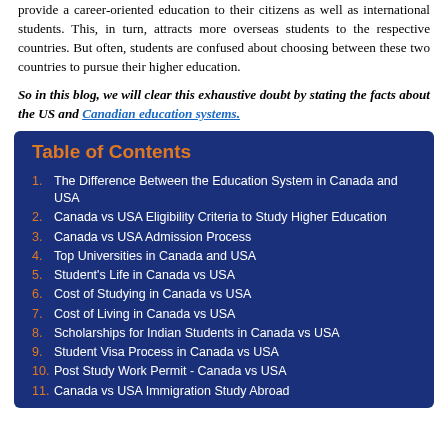provide a career-oriented education to their citizens as well as international students. This, in turn, attracts more overseas students to the respective countries. But often, students are confused about choosing between these two countries to pursue their higher education.
So in this blog, we will clear this exhaustive doubt by stating the facts about the US and Canadian education systems.
Table of Contents
The Difference Between the Education System in Canada and USA
Canada vs USA Eligibility Criteria to Study Higher Education
Canada vs USA Admission Process
Top Universities in Canada and USA
Student's Life in Canada vs USA
Cost of Studying in Canada vs USA
Cost of Living in Canada vs USA
Scholarships for Indian Students in Canada vs USA
Student Visa Process in Canada vs USA
Post Study Work Permit - Canada vs USA
Canada vs USA Immigration Study Abroad